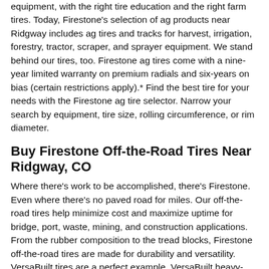equipment, with the right tire education and the right farm tires. Today, Firestone's selection of ag products near Ridgway includes ag tires and tracks for harvest, irrigation, forestry, tractor, scraper, and sprayer equipment. We stand behind our tires, too. Firestone ag tires come with a nine-year limited warranty on premium radials and six-years on bias (certain restrictions apply).* Find the best tire for your needs with the Firestone ag tire selector. Narrow your search by equipment, tire size, rolling circumference, or rim diameter.
Buy Firestone Off-the-Road Tires Near Ridgway, CO
Where there's work to be accomplished, there's Firestone. Even where there's no paved road for miles. Our off-the-road tires help minimize cost and maximize uptime for bridge, port, waste, mining, and construction applications. From the rubber composition to the tread blocks, Firestone off-the-road tires are made for durability and versatility. VersaBuilt tires are a perfect example. VersaBuilt heavy-equipment tires keep you working in the harshest off-the-road conditions. Non-directional tread gives extra traction, while SideArmor™ sidewalls and steel casings help